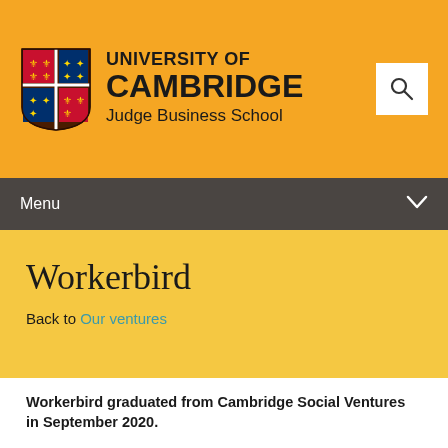[Figure (logo): University of Cambridge Judge Business School logo with shield crest and search icon on amber/yellow background]
Menu
Workerbird
Back to Our ventures
Workerbird graduated from Cambridge Social Ventures in September 2020.